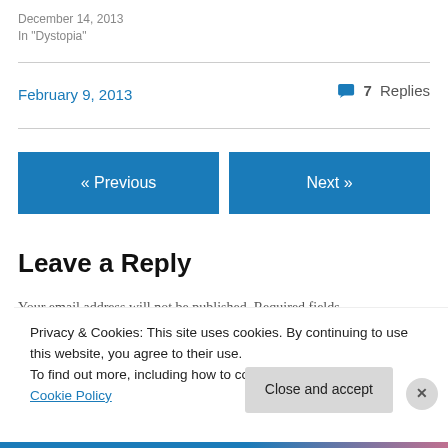December 14, 2013
In "Dystopia"
February 9, 2013
7 Replies
« Previous
Next »
Leave a Reply
Your email address will not be published. Required fields
Privacy & Cookies: This site uses cookies. By continuing to use this website, you agree to their use.
To find out more, including how to control cookies, see here: Cookie Policy